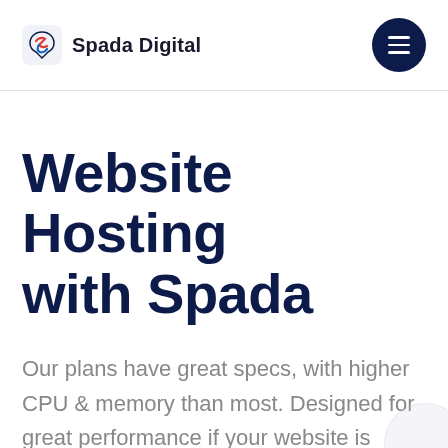[Figure (logo): Spada Digital logo with stylized S icon in blue and red, followed by text 'Spada Digital']
Website Hosting with Spada
Our plans have great specs, with higher CPU & memory than most. Designed for great performance if your website is